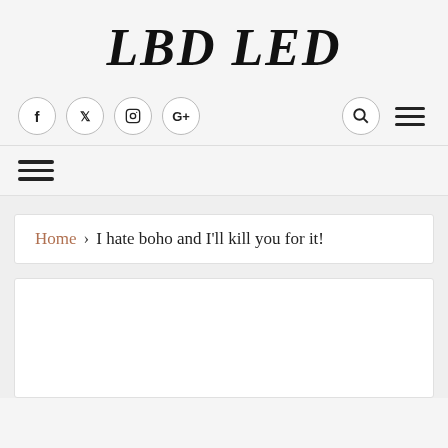LBD LED
f  twitter  instagram  G+  search  menu
menu (hamburger)
Home > I hate boho and I'll kill you for it!